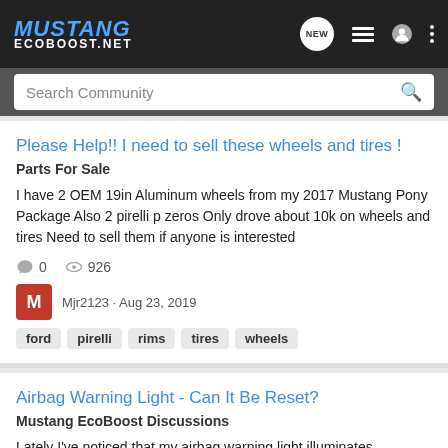MUSTANG ECOBOOST.NET
Search Community
Please Help!! I need to sell these wheels and tires !
Parts For Sale
I have 2 OEM 19in Aluminum wheels from my 2017 Mustang Pony Package Also 2 pirelli p zeros Only drove about 10k on wheels and tires Need to sell them if anyone is interested
0  926
Mjr2123 · Aug 23, 2019
ford
pirelli
rims
tires
wheels
Airbag Warning Light - Can It Be Reset?
Mustang EcoBoost Discussions
Lately I've noticed that my airbag warning light illuminates